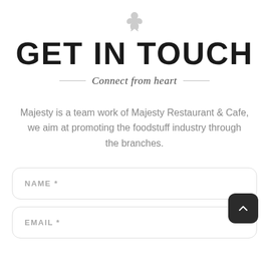[Figure (logo): Fleur-de-lis decorative icon in light gray at top center]
GET IN TOUCH
Connect from heart
Majesty is a team work of Majesty Restaurant & Cafe, we aim at promoting the foodstuff industry through the branches.
NAME *
EMAIL *